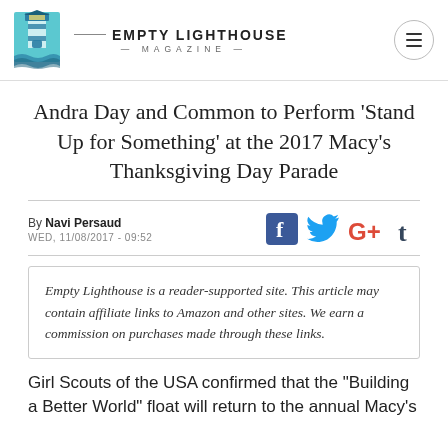EMPTY LIGHTHOUSE MAGAZINE
Andra Day and Common to Perform 'Stand Up for Something' at the 2017 Macy's Thanksgiving Day Parade
By Navi Persaud
WED, 11/08/2017 - 09:52
Empty Lighthouse is a reader-supported site. This article may contain affiliate links to Amazon and other sites. We earn a commission on purchases made through these links.
Girl Scouts of the USA confirmed that the "Building a Better World" float will return to the annual Macy's